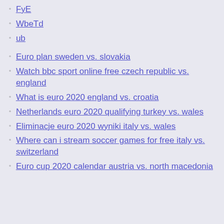FyE
WbeTd
ub
Euro plan sweden vs. slovakia
Watch bbc sport online free czech republic vs. england
What is euro 2020 england vs. croatia
Netherlands euro 2020 qualifying turkey vs. wales
Eliminacje euro 2020 wyniki italy vs. wales
Where can i stream soccer games for free italy vs. switzerland
Euro cup 2020 calendar austria vs. north macedonia